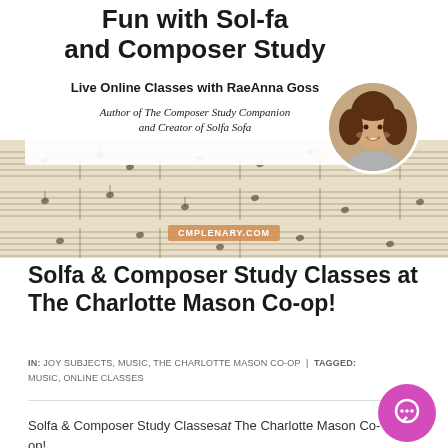[Figure (photo): Promotional banner for live online music classes. Top white card area with title 'Fun with Sol-fa and Composer Study', subtitle 'Live Online Classes with RaeAnna Goss', author credit 'Author of The Composer Study Companion and Creator of Solfa Sofa'. A circular portrait photo of a woman (RaeAnna Goss) with curly brown hair smiling. Background shows sheet music. URL badge reads 'CMPLENARY.COM'.]
Solfa & Composer Study Classes at The Charlotte Mason Co-op!
IN: JOY SUBJECTS, MUSIC, THE CHARLOTTE MASON CO-OP | TAGGED: MUSIC, ONLINE CLASSES
Solfa & Composer Study Classes at The Charlotte Mason Co-op!